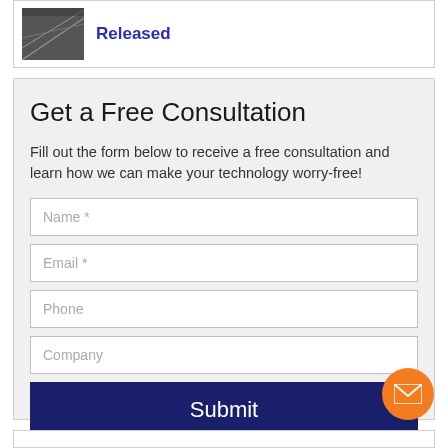Released
Get a Free Consultation
Fill out the form below to receive a free consultation and learn how we can make your technology worry-free!